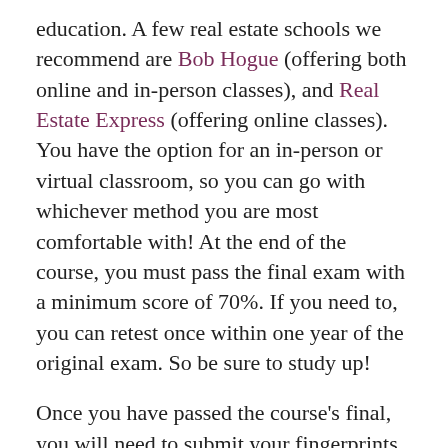education. A few real estate schools we recommend are Bob Hogue (offering both online and in-person classes), and Real Estate Express (offering online classes). You have the option for an in-person or virtual classroom, so you can go with whichever method you are most comfortable with! At the end of the course, you must pass the final exam with a minimum score of 70%. If you need to, you can retest once within one year of the original exam. So be sure to study up!
Once you have passed the course's final, you will need to submit your fingerprints to the Florida Department of Business & Professional Regulation at least five days before completing your application for licensure to the state. This is also where you'll submit your application!